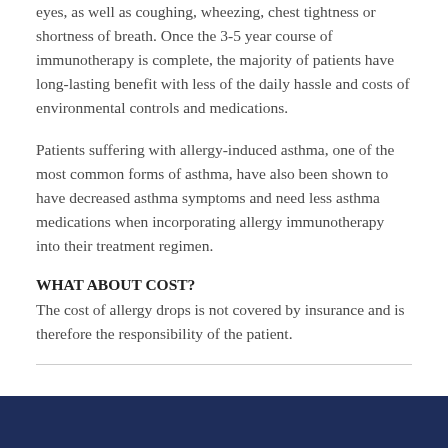eyes, as well as coughing, wheezing, chest tightness or shortness of breath. Once the 3-5 year course of immunotherapy is complete, the majority of patients have long-lasting benefit with less of the daily hassle and costs of environmental controls and medications.
Patients suffering with allergy-induced asthma, one of the most common forms of asthma, have also been shown to have decreased asthma symptoms and need less asthma medications when incorporating allergy immunotherapy into their treatment regimen.
WHAT ABOUT COST?
The cost of allergy drops is not covered by insurance and is therefore the responsibility of the patient.